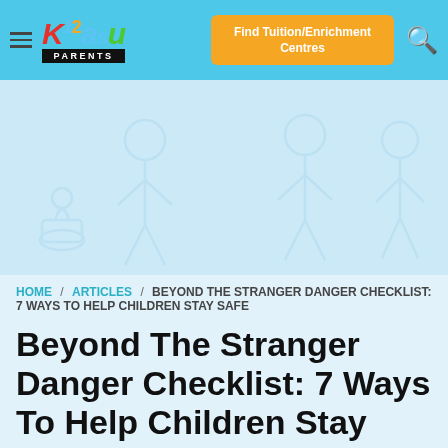Kids2u Parents — Find Tuition/Enrichment Centres
[Figure (illustration): Light blue hero banner with faint cartoon child illustrations (children figures with cupcakes and bags) as watermark background]
HOME / ARTICLES / BEYOND THE STRANGER DANGER CHECKLIST: 7 WAYS TO HELP CHILDREN STAY SAFE
Beyond The Stranger Danger Checklist: 7 Ways To Help Children Stay Safe